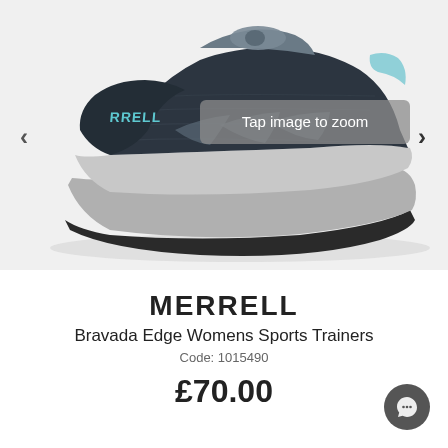[Figure (photo): Merrell Bravada Edge Womens Sports Trainer shoe, dark navy/charcoal mesh upper with light blue heel accent, grey laces, grey chunky sole with black rubber lugs, shown from the side on a white background. A semi-transparent grey overlay reads 'Tap image to zoom'. Left and right navigation arrows visible.]
MERRELL
Bravada Edge Womens Sports Trainers
Code: 1015490
£70.00